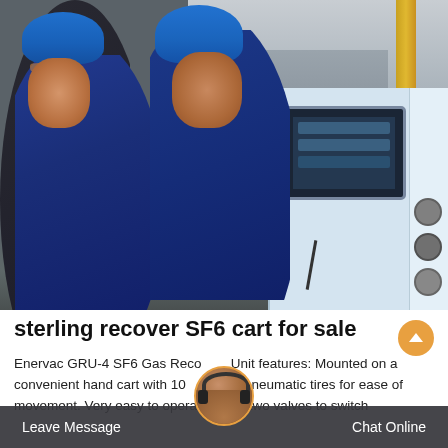[Figure (photo): Two workers in blue hard hats and blue work suits standing in an industrial facility, looking at a blue and white machine/equipment unit with a display screen. Yellow stripe on the floor, metal structure and yellow pillar visible in background.]
sterling recover SF6 cart for sale
Enervac GRU-4 SF6 Gas Recovery Unit features: Mounted on a convenient hand cart with 10" (25 cm) pneumatic tires for ease of movement. Very easy to operate - only two valves to switch